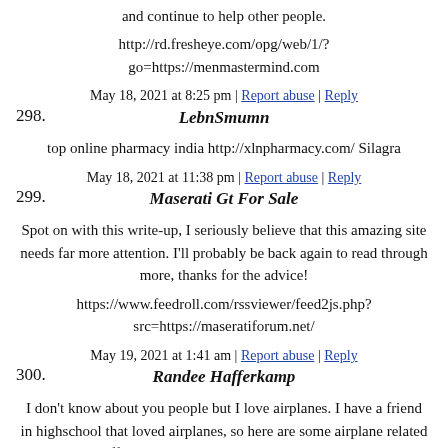and continue to help other people.
http://rd.fresheye.com/opg/web/1/?go=https://menmastermind.com
May 18, 2021 at 8:25 pm | Report abuse | Reply
298. LebnSmumn
top online pharmacy india http://xlnpharmacy.com/ Silagra
May 18, 2021 at 11:38 pm | Report abuse | Reply
299. Maserati Gt For Sale
Spot on with this write-up, I seriously believe that this amazing site needs far more attention. I'll probably be back again to read through more, thanks for the advice!
https://www.feedroll.com/rssviewer/feed2js.php?src=https://maseratiforum.net/
May 19, 2021 at 1:41 am | Report abuse | Reply
300. Randee Hafferkamp
I don't know about you people but I love airplanes. I have a friend in highschool that loved airplanes, so here are some airplane related stuff I don't know about you guys but I love